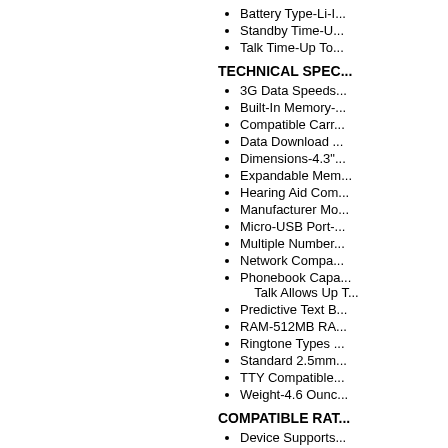Battery Type-Li-I...
Standby Time-U...
Talk Time-Up To...
TECHNICAL SPEC...
3G Data Speeds...
Built-In Memory-...
Compatible Carr...
Data Download ...
Dimensions-4.3"...
Expandable Mem...
Hearing Aid Com...
Manufacturer Mo...
Micro-USB Port-...
Multiple Number...
Network Compa...
Phonebook Capa... Talk Allows Up T...
Predictive Text B...
RAM-512MB RA...
Ringtone Types ...
Standard 2.5mm...
TTY Compatible...
Weight-4.6 Ounc...
COMPATIBLE RAT...
Device Supports...